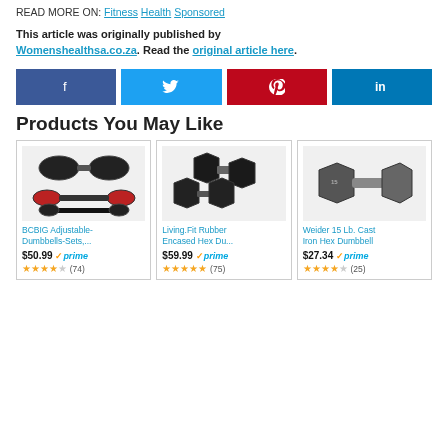READ MORE ON: Fitness Health Sponsored
This article was originally published by Womenshealthsa.co.za. Read the original article here.
[Figure (infographic): Social media share buttons: Facebook (blue), Twitter (light blue), Pinterest (red), LinkedIn (dark blue)]
Products You May Like
[Figure (photo): BCBIG Adjustable-Dumbbells-Sets product image]
BCBIG Adjustable-Dumbbells-Sets,...
$50.99 prime
3.5 stars (74)
[Figure (photo): Living.Fit Rubber Encased Hex Dumbbell product image]
Living.Fit Rubber Encased Hex Du...
$59.99 prime
5 stars (75)
[Figure (photo): Weider 15 Lb. Cast Iron Hex Dumbbell product image]
Weider 15 Lb. Cast Iron Hex Dumbbell
$27.34 prime
3.5 stars (25)